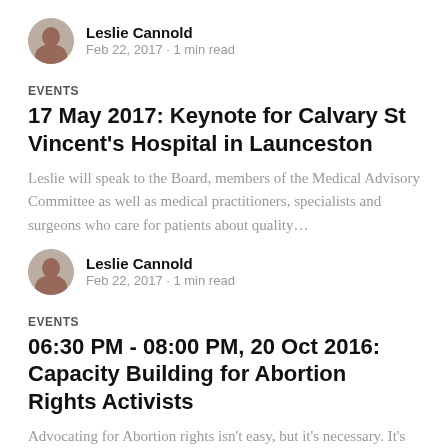[Figure (photo): Circular avatar portrait of Leslie Cannold]
Leslie Cannold
Feb 22, 2017 · 1 min read
EVENTS
17 May 2017: Keynote for Calvary St Vincent's Hospital in Launceston
Leslie will speak to the Board, members of the Medical Advisory Committee as well as medical practitioners, specialists and surgeons who care for patients about quality…
[Figure (photo): Circular avatar portrait of Leslie Cannold]
Leslie Cannold
Feb 22, 2017 · 1 min read
EVENTS
06:30 PM - 08:00 PM, 20 Oct 2016: Capacity Building for Abortion Rights Activists
Advocating for Abortion rights isn't easy, but it's necessary. It's 2016, but abortion remains in the criminal law in NSW and